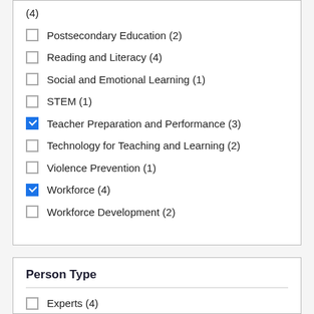(4)
Postsecondary Education (2)
Reading and Literacy (4)
Social and Emotional Learning (1)
STEM (1)
Teacher Preparation and Performance (3)
Technology for Teaching and Learning (2)
Violence Prevention (1)
Workforce (4)
Workforce Development (2)
Person Type
Experts (4)